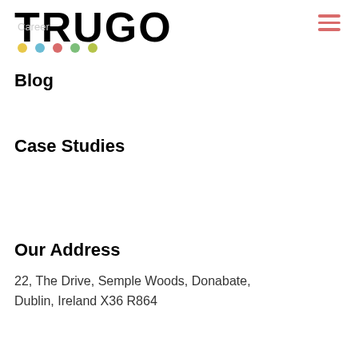TRUGO — Career (nav header with hamburger menu)
Blog
Case Studies
Our Address
22, The Drive, Semple Woods, Donabate, Dublin, Ireland X36 R864